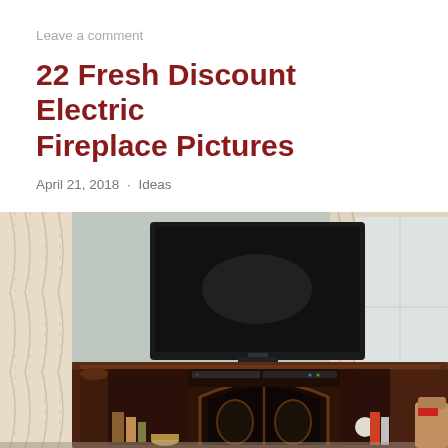Leave a comment
22 Fresh Discount Electric Fireplace Pictures
April 21, 2018 · Ideas
[Figure (photo): Living room interior with a large flat-screen TV mounted on a dark wood media console/fireplace cabinet. Light gray walls, cream patterned curtains on both sides, electronic equipment in the cabinets, decorative items on shelves, and a partial view of a brown armchair on the right.]